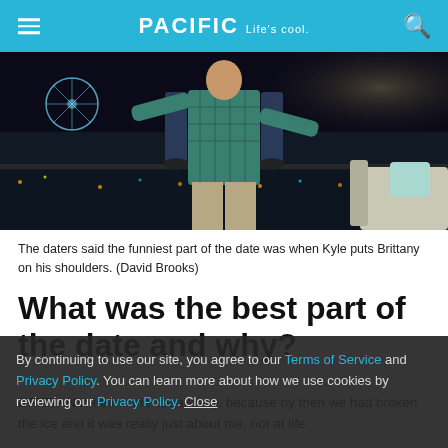PACIFIC Life's cool.
[Figure (photo): Night photo of a man in a plaid shirt lifting a woman on his shoulders on a balcony overlooking a lit fairground with a Ferris wheel in the background.]
The daters said the funniest part of the date was when Kyle puts Brittany on his shoulders. (David Brooks)
What was the best part of the date and why?
BRITTANY: I think the speakeasy, because by then we had broken the ice and it was really just about me, not at life.
By continuing to use our site, you agree to our Terms of Service and Privacy Policy. You can learn more about how we use cookies by reviewing our Privacy Policy. Close